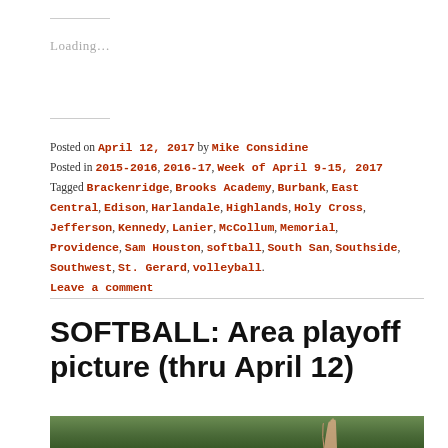Loading...
Posted on April 12, 2017 by Mike Considine
Posted in 2015-2016, 2016-17, Week of April 9-15, 2017
Tagged Brackenridge, Brooks Academy, Burbank, East Central, Edison, Harlandale, Highlands, Holy Cross, Jefferson, Kennedy, Lanier, McCollum, Memorial, Providence, Sam Houston, softball, South San, Southside, Southwest, St. Gerard, volleyball.
Leave a comment
SOFTBALL: Area playoff picture (thru April 12)
[Figure (photo): Partial photo of outdoor scene with hands raised, green background]